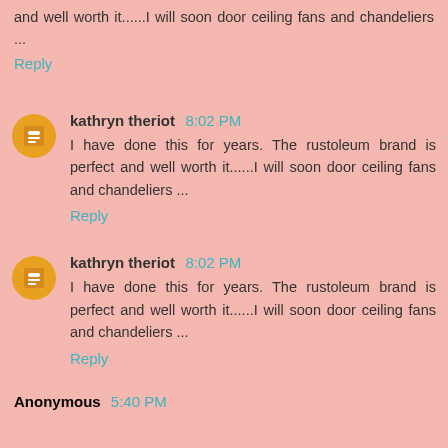and well worth it......I will soon door ceiling fans and chandeliers ...
Reply
kathryn theriot 8:02 PM
I have done this for years. The rustoleum brand is perfect and well worth it......I will soon door ceiling fans and chandeliers ...
Reply
kathryn theriot 8:02 PM
I have done this for years. The rustoleum brand is perfect and well worth it......I will soon door ceiling fans and chandeliers ...
Reply
Anonymous 5:40 PM